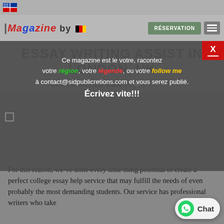[UK flag icon]
[Figure (logo): IMagazine logo with colorful text and German flag icon, alongside RÉSERVATION button and hamburger menu]
Ce magazine est le votre, racontez votre région, votre légende, ou votre follow me à contact@sidpublicretions.com et vous serez publié. Écrivez vite!!!
ESSAY WRITING ASSIST IN LONDON, UK
Publié par AN | Non classé | 0 💬 | ★★★★★
For this reason, we've done every little thing potential to create a perfect college essay help service that may fulfill the needs of even probably the most demanding students. Our service has professional writers who take
[Figure (other): WhatsApp Chat widget button at bottom right]